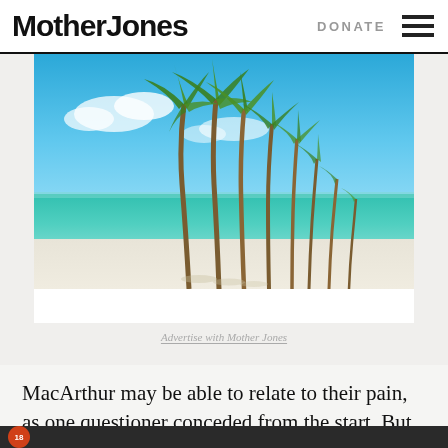Mother Jones | DONATE
[Figure (photo): Tropical beach scene with tall palm trees on white sand and turquoise water under a blue sky, used as an advertisement image.]
Advertise with Mother Jones
MacArthur may be able to relate to their pain, as one questioner conceded from the start. But none of them seemed to believe he was doing anything to stop it.